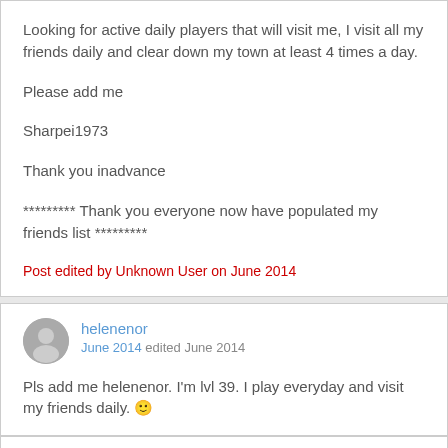Looking for active daily players that will visit me, I visit all my friends daily and clear down my town at least 4 times a day.
Please add me
Sharpei1973
Thank you inadvance
********* Thank you everyone now have populated my friends list *********
Post edited by Unknown User on June 2014
helenenor
June 2014 edited June 2014
Pls add me helenenor. I'm lvl 39. I play everyday and visit my friends daily. 🙂